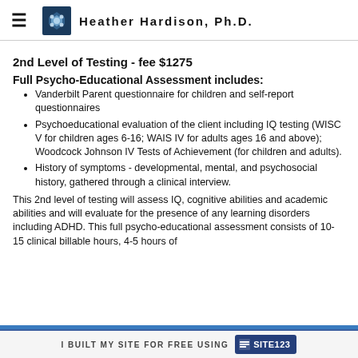Heather Hardison, Ph.D.
2nd Level of Testing - fee $1275
Full Psycho-Educational Assessment includes:
Vanderbilt Parent questionnaire for children and self-report questionnaires
Psychoeducational evaluation of the client including IQ testing (WISC V for children ages 6-16; WAIS IV for adults ages 16 and above); Woodcock Johnson IV Tests of Achievement (for children and adults).
History of symptoms - developmental, mental, and psychosocial history, gathered through a clinical interview.
This 2nd level of testing will assess IQ, cognitive abilities and academic abilities and will evaluate for the presence of any learning disorders including ADHD. This full psycho-educational assessment consists of 10-15 clinical billable hours, 4-5 hours of
I BUILT MY SITE FOR FREE USING SITE123